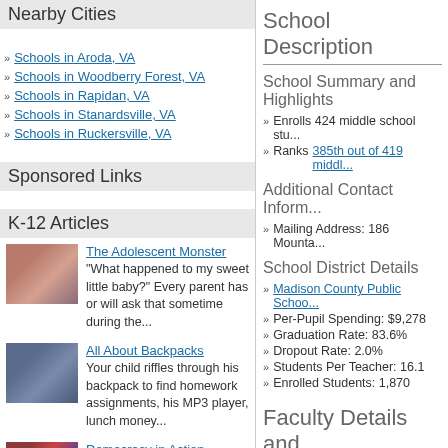Nearby Cities
Schools in Aroda, VA
Schools in Woodberry Forest, VA
Schools in Rapidan, VA
Schools in Stanardsville, VA
Schools in Ruckersville, VA
Sponsored Links
K-12 Articles
The Adolescent Monster — "What happened to my sweet little baby?" Every parent has or will ask that sometime during the...
All About Backpacks — Your child riffles through his backpack to find homework assignments, his MP3 player, lunch money...
Democracy in Action — There is still over a year until the general election, but the election cycle has been in full...
School Description
School Summary and Highlights
Enrolls 424 middle school students
Ranks 385th out of 419 middle schools
Additional Contact Information
Mailing Address: 186 Mountain Road
School District Details
Madison County Public Schools
Per-Pupil Spending: $9,278
Graduation Rate: 83.6%
Dropout Rate: 2.0%
Students Per Teacher: 16.1
Enrolled Students: 1,870
Faculty Details and...